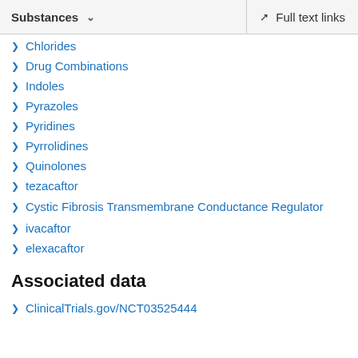Substances   Full text links
Chlorides
Drug Combinations
Indoles
Pyrazoles
Pyridines
Pyrrolidines
Quinolones
tezacaftor
Cystic Fibrosis Transmembrane Conductance Regulator
ivacaftor
elexacaftor
Associated data
ClinicalTrials.gov/NCT03525444